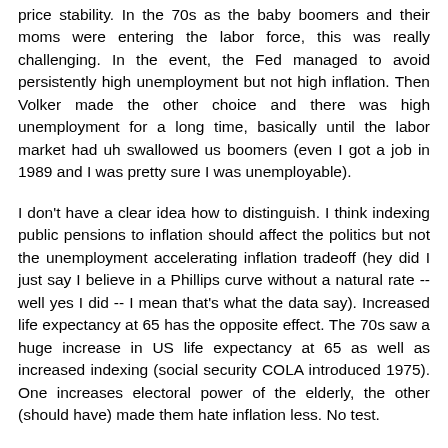price stability. In the 70s as the baby boomers and their moms were entering the labor force, this was really challenging. In the event, the Fed managed to avoid persistently high unemployment but not high inflation. Then Volker made the other choice and there was high unemployment for a long time, basically until the labor market had uh swallowed us boomers (even I got a job in 1989 and I was pretty sure I was unemployable).
I don't have a clear idea how to distinguish. I think indexing public pensions to inflation should affect the politics but not the unemployment accelerating inflation tradeoff (hey did I just say I believe in a Phillips curve without a natural rate -- well yes I did -- I mean that's what the data say). Increased life expectancy at 65 has the opposite effect. The 70s saw a huge increase in US life expectancy at 65 as well as increased indexing (social security COLA introduced 1975). One increases electoral power of the elderly, the other (should have) made them hate inflation less. No test.